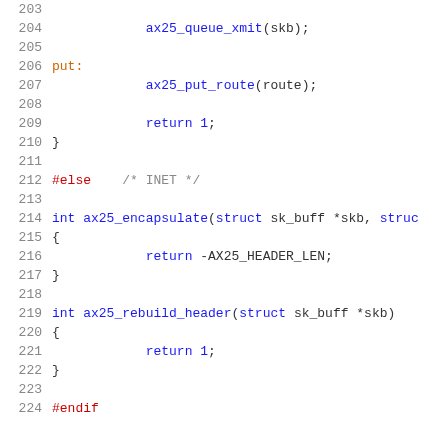Source code listing lines 203-224 showing C code with ax25 network functions
203 (blank)
204     ax25_queue_xmit(skb);
205 (blank)
206 put:
207     ax25_put_route(route);
208 (blank)
209     return 1;
210 }
211 (blank)
212 #else    /* INET */
213 (blank)
214 int ax25_encapsulate(struct sk_buff *skb, struc
215 {
216     return -AX25_HEADER_LEN;
217 }
218 (blank)
219 int ax25_rebuild_header(struct sk_buff *skb)
220 {
221     return 1;
222 }
223 (blank)
224 #endif